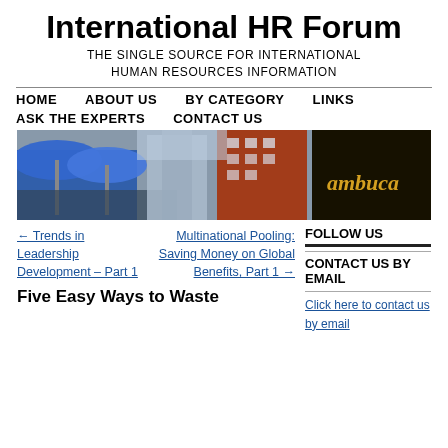International HR Forum
THE SINGLE SOURCE FOR INTERNATIONAL HUMAN RESOURCES INFORMATION
HOME   ABOUT US   BY CATEGORY   LINKS   ASK THE EXPERTS   CONTACT US
[Figure (photo): Street scene photo showing city buildings, blue umbrellas, and a sign reading 'lambuca' on the right side]
← Trends in Leadership Development – Part 1
Multinational Pooling: Saving Money on Global Benefits, Part 1 →
FOLLOW US
CONTACT US BY EMAIL
Click here to contact us by email
Five Easy Ways to Waste